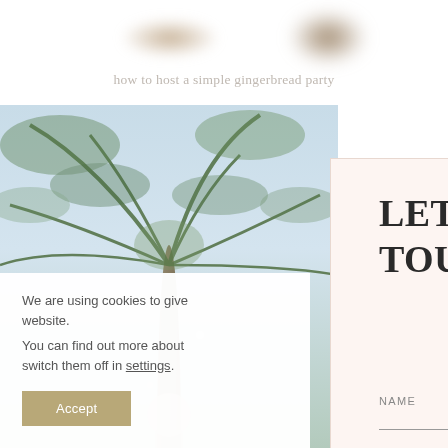[Figure (photo): Blurred logo blobs at top of page]
how to host a simple gingerbread party
[Figure (photo): Photo of a palm tree with decorations and a person in background]
We are using cookies to give website.
You can find out more about switch them off in settings.
Accept
LET'S KEE TOUCH
Want to be the first to know a give-away or can't-miss deals fr brands?
NAME
EMAIL ADDRESS